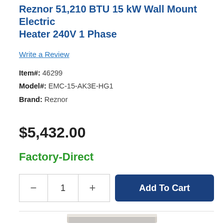Reznor 51,210 BTU 15 kW Wall Mount Electric Heater 240V 1 Phase
Write a Review
Item#: 46299
Model#: EMC-15-AK3E-HG1
Brand: Reznor
$5,432.00
Factory-Direct
[Figure (screenshot): Quantity selector with minus and plus buttons showing quantity 1, and a dark blue Add To Cart button]
[Figure (photo): Partial view of a Reznor wall mount electric heater unit at the bottom of the page]